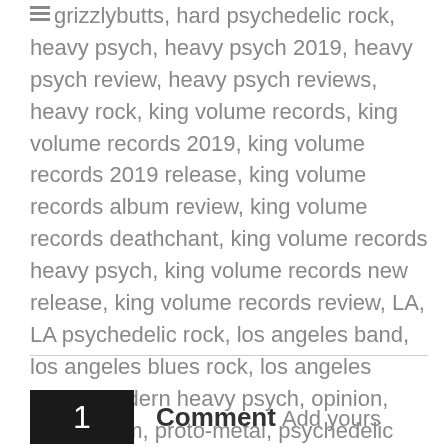grizzlybutts, hard psychedelic rock, heavy psych, heavy psych 2019, heavy psych review, heavy psych reviews, heavy rock, king volume records, king volume records 2019, king volume records 2019 release, king volume records album review, king volume records deathchant, king volume records heavy psych, king volume records new release, king volume records review, LA, LA psychedelic rock, los angeles band, los angeles blues rock, los angeles metal, modern heavy psych, opinion, proto-doom, proto-metal, psychedelic doom, psychedelic rock, psychedelic rock 2019, review, review 2019, Reviews, stoner doom, stoner doom metal. Bookmark the permalink.
1 Comment Add yours